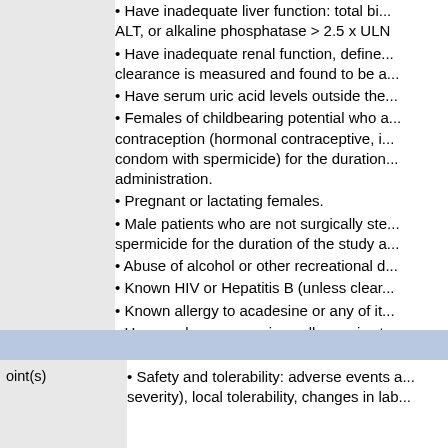• Have inadequate liver function: total bilirubin, ALT, or alkaline phosphatase > 2.5 x ULN
• Have inadequate renal function, defined... clearance is measured and found to be a...
• Have serum uric acid levels outside the...
• Females of childbearing potential who a... contraception (hormonal contraceptive, i... condom with spermicide) for the duration... administration.
• Pregnant or lactating females.
• Male patients who are not surgically ste... spermicide for the duration of the study a...
• Abuse of alcohol or other recreational d...
• Known HIV or Hepatitis B (unless clear...
• Known allergy to acadesine or any of it...
• Have undergone previous allogeneic st...
• Transformation to Richter's syndrome o...
oint(s)
• Safety and tolerability: adverse events a... severity), local tolerability, changes in lab...